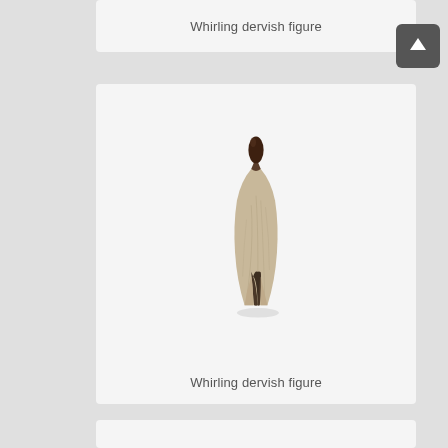Whirling dervish figure
[Figure (photo): Ceramic or clay sculpture of a whirling dervish figure — a tall, cone-shaped beige/tan robe with a dark brown head/hat at the top, split at the bottom revealing a dark interior, viewed from behind.]
Whirling dervish figure
[Figure (other): Partially visible card at the bottom of the page]